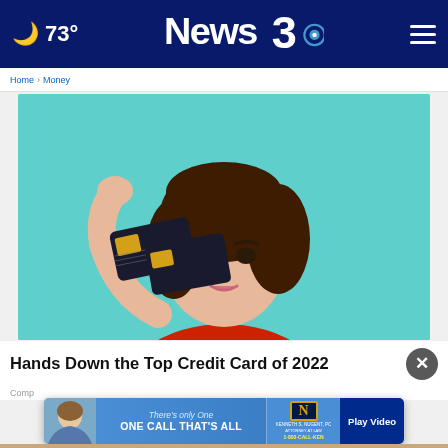🌙 73° | News3 | ☰
[Figure (photo): Young woman with short brown hair in a red sweater holding a dark credit card over one eye against a teal background, making a kissing face]
Hands Down the Top Credit Card of 2022
Comp
[Figure (photo): Advertisement banner: There's only One ONE CALL THAT'S ALL - Kenneth S. Nugent PC Attorney at Law 1-800-CALL-KEN - Play Video]